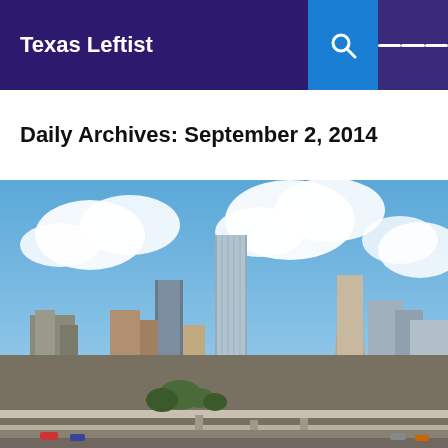Texas Leftist
Daily Archives: September 2, 2014
[Figure (photo): Houston city skyline viewed from a highway overpass, showing tall skyscrapers against a blue sky with white clouds]